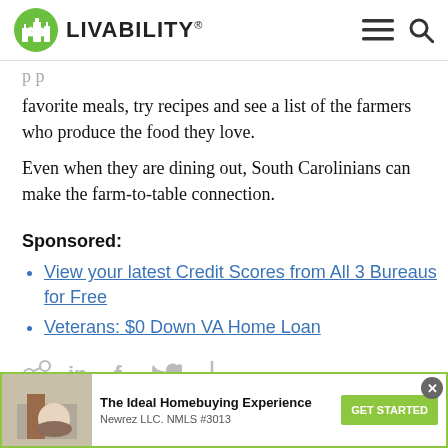LIVABILITY
favorite meals, try recipes and see a list of the farmers who produce the food they love.
Even when they are dining out, South Carolinians can make the farm-to-table connection.
Sponsored:
View your latest Credit Scores from All 3 Bureaus for Free
Veterans: $0 Down VA Home Loan
[Figure (other): Social sharing icons: link, LinkedIn, Facebook, Twitter, plus]
[Figure (other): Advertisement banner: The Ideal Homebuying Experience, Newrez LLC. NMLS #3013, GET STARTED button, close X button]